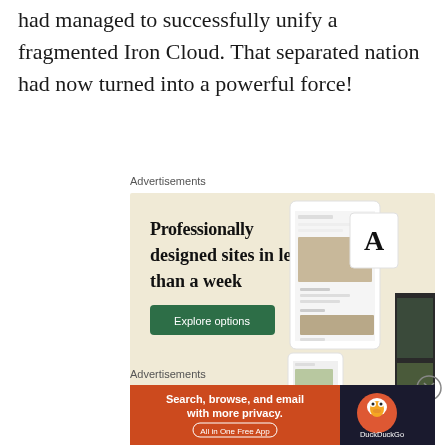had managed to successfully unify a fragmented Iron Cloud. That separated nation had now turned into a powerful force!
Advertisements
[Figure (screenshot): WordPress advertisement showing 'Professionally designed sites in less than a week' with Explore options button and website mockup screenshots on a cream background with WordPress logo.]
Advertisements
[Figure (screenshot): DuckDuckGo advertisement showing 'Search, browse, and email with more privacy. All in One Free App' on an orange-red background with DuckDuckGo logo on dark background.]